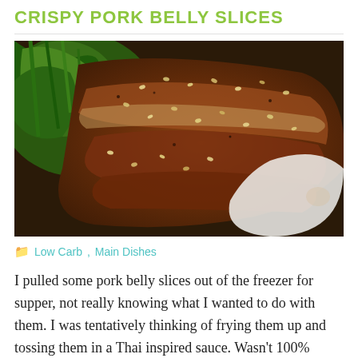CRISPY PORK BELLY SLICES
[Figure (photo): Close-up photo of crispy pork belly slices topped with sesame seeds, served on a white plate with green vegetables (broccoli rabe or similar) in the background.]
Low Carb, Main Dishes
I pulled some pork belly slices out of the freezer for supper, not really knowing what I wanted to do with them. I was tentatively thinking of frying them up and tossing them in a Thai inspired sauce. Wasn't 100%